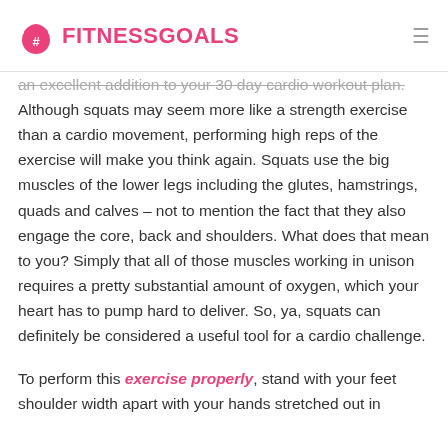#FITNESSGOALS
an excellent addition to your 30 day cardio workout plan. Although squats may seem more like a strength exercise than a cardio movement, performing high reps of the exercise will make you think again. Squats use the big muscles of the lower legs including the glutes, hamstrings, quads and calves – not to mention the fact that they also engage the core, back and shoulders. What does that mean to you? Simply that all of those muscles working in unison requires a pretty substantial amount of oxygen, which your heart has to pump hard to deliver. So, ya, squats can definitely be considered a useful tool for a cardio challenge.
To perform this exercise properly, stand with your feet shoulder width apart with your hands stretched out in